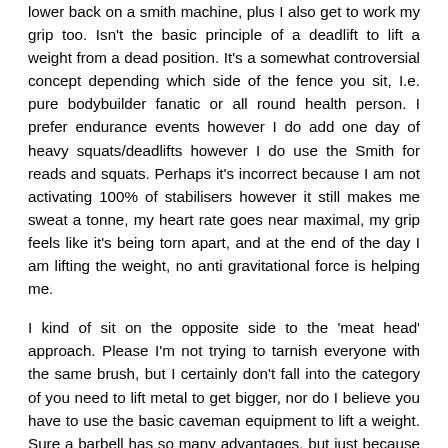lower back on a smith machine, plus I also get to work my grip too. Isn't the basic principle of a deadlift to lift a weight from a dead position. It's a somewhat controversial concept depending which side of the fence you sit, I.e. pure bodybuilder fanatic or all round health person. I prefer endurance events however I do add one day of heavy squats/deadlifts however I do use the Smith for reads and squats. Perhaps it's incorrect because I am not activating 100% of stabilisers however it still makes me sweat a tonne, my heart rate goes near maximal, my grip feels like it's being torn apart, and at the end of the day I am lifting the weight, no anti gravitational force is helping me.
I kind of sit on the opposite side to the 'meat head' approach. Please I'm not trying to tarnish everyone with the same brush, but I certainly don't fall into the category of you need to lift metal to get bigger, nor do I believe you have to use the basic caveman equipment to lift a weight. Sure a barbell has so many advantages, but just because it's better doesn't mean it's necessarily the right way. Or rather, let me correct that, the only way.
That said, I appreciate this post, we all have controversial views on some things, I myself don't do carbs and eat